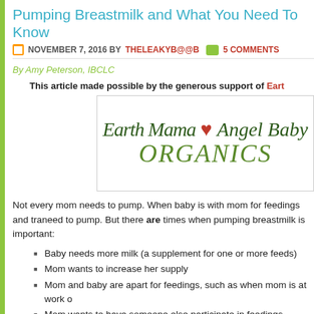Pumping Breastmilk and What You Need To Know
NOVEMBER 7, 2016 BY THELEAKYB@@B  5 COMMENTS
By Amy Peterson, IBCLC
This article made possible by the generous support of Earth Mama Angel Baby Organics
[Figure (logo): Earth Mama Angel Baby Organics logo with handwritten-style text in green and a red heart]
Not every mom needs to pump. When baby is with mom for feedings and tra... need to pump. But there are times when pumping breastmilk is important:
Baby needs more milk (a supplement for one or more feeds)
Mom wants to increase her supply
Mom and baby are apart for feedings, such as when mom is at work o...
Mom wants to have someone else participate in feedings
Anytime mom will miss a feeding
In these circumstances, using a breast pump helps maintain or increase the m... the pumped milk offers the perfect food for baby. This article touches on choo... breast pumps, general pumping guidelines, and tips for increasing milk suppl...